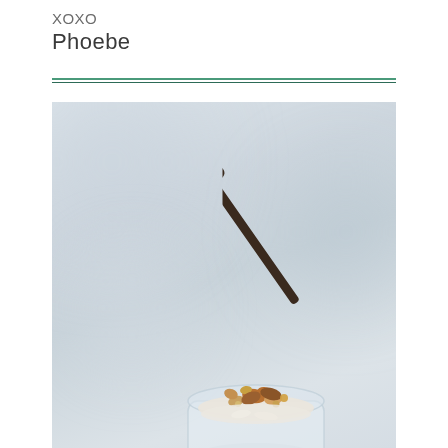XOXO
Phoebe
[Figure (photo): A glass jar filled with granola, nuts (almonds, hazelnuts), and oats, with a dark wooden flat spatula/spoon standing upright in the jar, photographed from above on a blurred light grey background.]